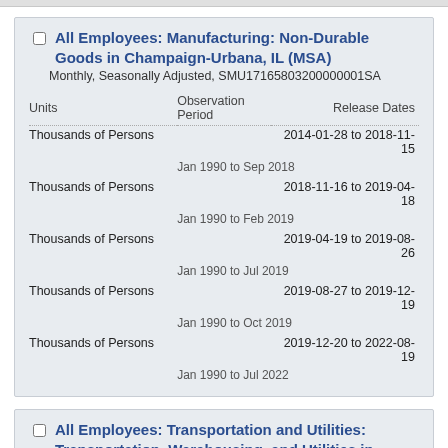All Employees: Manufacturing: Non-Durable Goods in Champaign-Urbana, IL (MSA)
Monthly, Seasonally Adjusted, SMU17165803200000001SA
| Units | Observation Period | Release Dates |
| --- | --- | --- |
| Thousands of Persons |  | 2014-01-28 to 2018-11-15 |
|  |  | Jan 1990 to Sep 2018 |
| Thousands of Persons |  | 2018-11-16 to 2019-04-18 |
|  |  | Jan 1990 to Feb 2019 |
| Thousands of Persons |  | 2019-04-19 to 2019-08-26 |
|  |  | Jan 1990 to Jul 2019 |
| Thousands of Persons |  | 2019-08-27 to 2019-12-19 |
|  |  | Jan 1990 to Oct 2019 |
| Thousands of Persons |  | 2019-12-20 to 2022-08-19 |
|  |  | Jan 1990 to Jul 2022 |
All Employees: Transportation and Utilities: Transportation, Warehousing, and Utilities in Champaign-Urbana, IL (MSA)